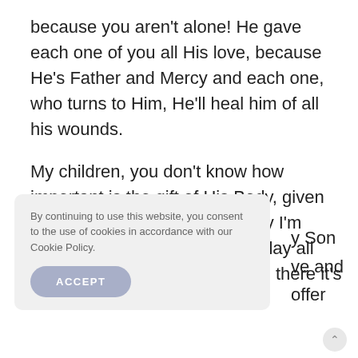because you aren't alone! He gave each one of you all His love, because He's Father and Mercy and each one, who turns to Him, He'll heal him of all his wounds.
My children, you don't know how important is the gift of His Body, given for each one of you! That's why I'm saying to you: turn to Him and lay all your anxieties to Him, because there it's
By continuing to use this website, you consent to the use of cookies in accordance with our Cookie Policy.
ACCEPT
y Son
ve and
offer